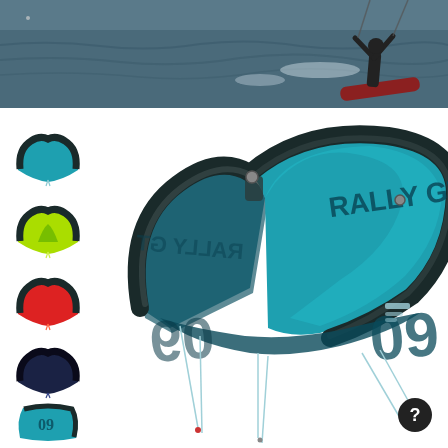[Figure (photo): Top banner photo showing a kitesurfer on dark choppy water, person riding a board with a kite, viewed from behind/side]
[Figure (photo): Large main product image: teal/dark blue Rally GT 09 kiteboarding kite shown in 3D perspective with lines hanging down, against white background]
[Figure (photo): Thumbnail 1: small teal/blue Rally kite variant]
[Figure (photo): Thumbnail 2: small yellow-green Rally kite variant]
[Figure (photo): Thumbnail 3: small red/orange Rally kite variant]
[Figure (photo): Thumbnail 4: small dark navy/black Rally kite variant]
[Figure (photo): Thumbnail 5: small teal Rally kite panel/segment view]